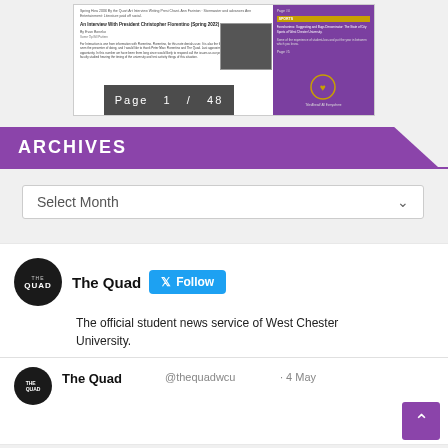[Figure (screenshot): Document thumbnail showing 'An Interview With President Christopher Florentino (Spring 2022)' article with page 1 of 48 overlay]
ARCHIVES
Select Month
The Quad
The official student news service of West Chester University.
The Quad @thequadwcu · 4 May